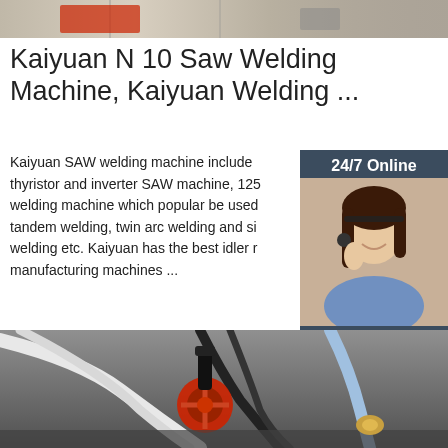[Figure (photo): Top partial photo of industrial welding/manufacturing equipment in a factory setting]
Kaiyuan N 10 Saw Welding Machine, Kaiyuan Welding ...
Kaiyuan SAW welding machine include thyristor and inverter SAW machine, 125 welding machine which popular be used tandem welding, twin arc welding and single welding etc. Kaiyuan has the best idler roller manufacturing machines ...
[Figure (photo): Customer service representative (woman with headset) with 24/7 Online label, Click here for free chat text, and QUOTATION button in dark blue sidebar]
[Figure (other): Green Get Price button]
[Figure (photo): Bottom photo of industrial welding machinery with red valve wheel and cables]